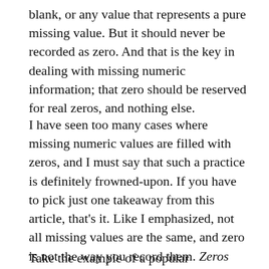blank, or any value that represents a pure missing value. But it should never be recorded as zero. And that is the key in dealing with missing numeric information; that zero should be reserved for real zeros, and nothing else.
I have seen too many cases where missing numeric values are filled with zeros, and I must say that such a practice is definitely frowned-upon. If you have to pick just one takeaway from this article, that's it. Like I emphasized, not all missing values are the same, and zero is not the way you record them. Zeros should never represent lack of information.
Take the example of a popular demographic